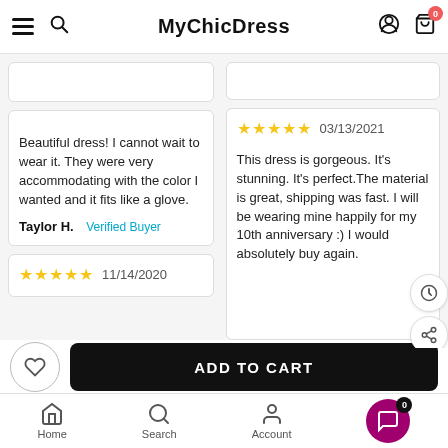MyChicDress
Beautiful dress! I cannot wait to wear it. They were very accommodating with the color I wanted and it fits like a glove.

Taylor H.  Verified Buyer
★★★★★  03/13/2021
This dress is gorgeous. It's stunning. It's perfect.The material is great, shipping was fast. I will be wearing mine happily for my 10th anniversary :)  I would absolutely buy again.
★★★★★  11/14/2020
ADD TO CART
Home  Search  Account